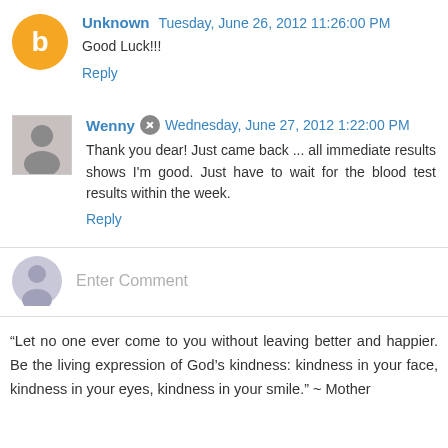Unknown  Tuesday, June 26, 2012 11:26:00 PM
Good Luck!!!
Reply
Wenny  Wednesday, June 27, 2012 1:22:00 PM
Thank you dear! Just came back ... all immediate results shows I'm good. Just have to wait for the blood test results within the week.
Reply
Enter Comment
“Let no one ever come to you without leaving better and happier. Be the living expression of God’s kindness: kindness in your face, kindness in your eyes, kindness in your smile.” ~ Mother